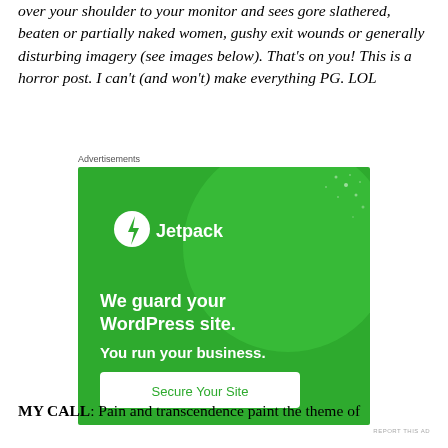over your shoulder to your monitor and sees gore slathered, beaten or partially naked women, gushy exit wounds or generally disturbing imagery (see images below).  That's on you!  This is a horror post.  I can't (and won't) make everything PG.  LOL
[Figure (other): Jetpack advertisement: green background with large circle graphic, Jetpack logo and text 'We guard your WordPress site. You run your business.' with 'Secure Your Site' button. Label 'Advertisements' above.]
MY CALL:  Pain and transcendence paint the theme of